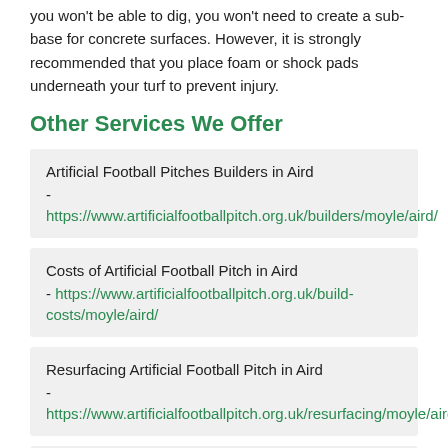you won't be able to dig, you won't need to create a sub-base for concrete surfaces. However, it is strongly recommended that you place foam or shock pads underneath your turf to prevent injury.
Other Services We Offer
Artificial Football Pitches Builders in Aird - https://www.artificialfootballpitch.org.uk/builders/moyle/aird/
Costs of Artificial Football Pitch in Aird - https://www.artificialfootballpitch.org.uk/build-costs/moyle/aird/
Resurfacing Artificial Football Pitch in Aird - https://www.artificialfootballpitch.org.uk/resurfacing/moyle/aird/
Synthetic Football Pitch Suppliers in Aird - https://www.artificialfootballpitch.org.uk/suppliers/moyle/aird/
Installing Synthetic Grass Surfacing in Aird - https://www.artificialfootballpitch.org.uk/installers/moyle/aird/